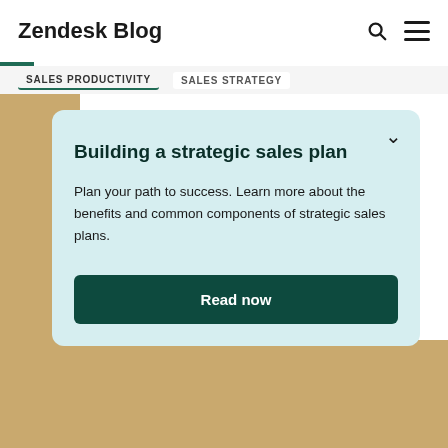Zendesk Blog
SALES PRODUCTIVITY   SALES STRATEGY
[Figure (screenshot): Background photo of a woman in athletic wear with a blue wristband and yellow cord, set against a tan/gold background. Partially obscured by a modal card overlay.]
Building a strategic sales plan
Plan your path to success. Learn more about the benefits and common components of strategic sales plans.
Read now